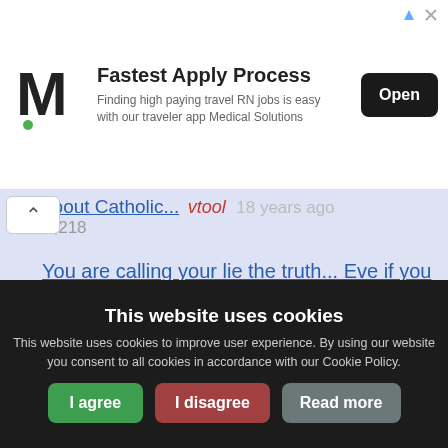[Figure (other): Advertisement banner: M logo (Medical Solutions), 'Fastest Apply Process', 'Finding high paying travel RN jobs is easy with our traveler app Medical Solutions', Open button]
about Catholic... vtool 18 years ago
3,218
You are calling your lie the truth... Eve if you ... rudenski 18 years ago 3,041
"You stating that the villany of the people in tho... vtool 18 years ago
3,063
This website uses cookies
This website uses cookies to improve user experience. By using our website you consent to all cookies in accordance with our Cookie Policy.
I agree   I disagree   Read more